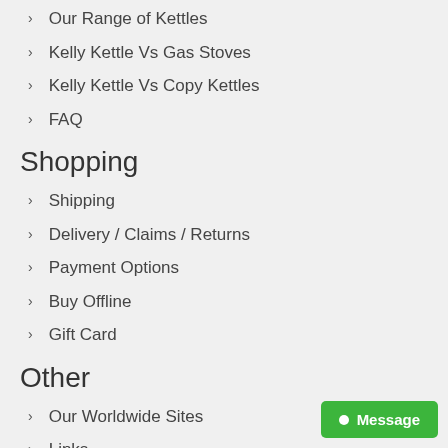Our Range of Kettles
Kelly Kettle Vs Gas Stoves
Kelly Kettle Vs Copy Kettles
FAQ
Shopping
Shipping
Delivery / Claims / Returns
Payment Options
Buy Offline
Gift Card
Other
Our Worldwide Sites
Links
User Gallery
Become a Reseller
Blog
Competition
Message